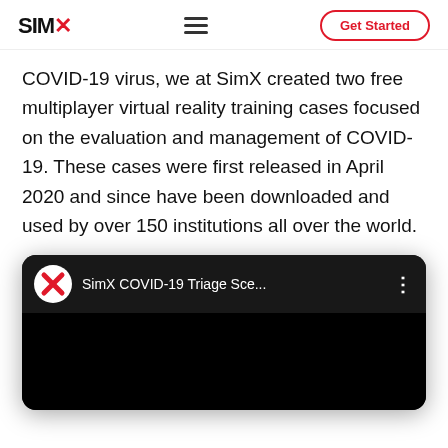SIMX | Get Started
COVID-19 virus, we at SimX created two free multiplayer virtual reality training cases focused on the evaluation and management of COVID-19. These cases were first released in April 2020 and since have been downloaded and used by over 150 institutions all over the world.
[Figure (screenshot): SimX COVID-19 Triage Sce... video thumbnail — dark player with SimX logo icon and three-dot menu. Black video preview area below.]